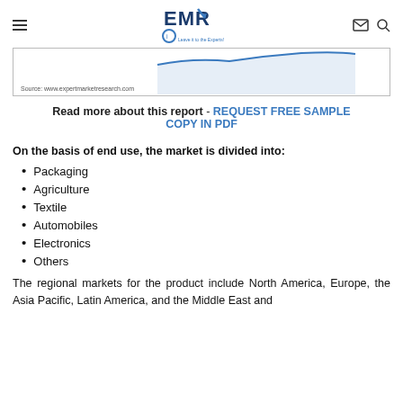EMR - Expert Market Research
[Figure (other): Partial chart area with source label: Source: www.expertmarketresearch.com]
Read more about this report - REQUEST FREE SAMPLE COPY IN PDF
On the basis of end use, the market is divided into:
Packaging
Agriculture
Textile
Automobiles
Electronics
Others
The regional markets for the product include North America, Europe, the Asia Pacific, Latin America, and the Middle East and